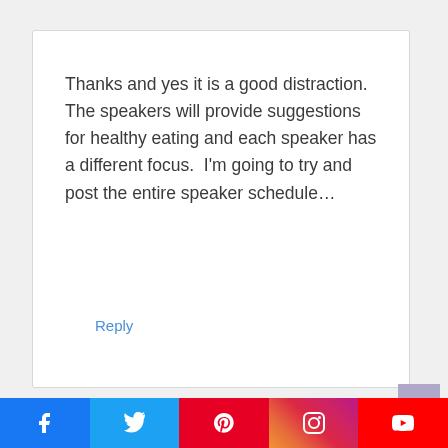Thanks and yes it is a good distraction.  The speakers will provide suggestions for healthy eating and each speaker has a different focus.  I'm going to try and post the entire speaker schedule…
Reply